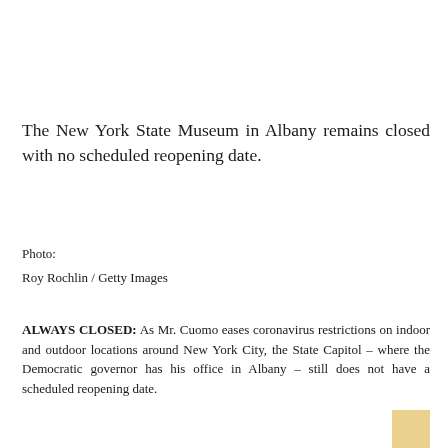The New York State Museum in Albany remains closed with no scheduled reopening date.
Photo:
Roy Rochlin / Getty Images
ALWAYS CLOSED: As Mr. Cuomo eases coronavirus restrictions on indoor and outdoor locations around New York City, the State Capitol – where the Democratic governor has his office in Albany – still does not have a scheduled reopening date.